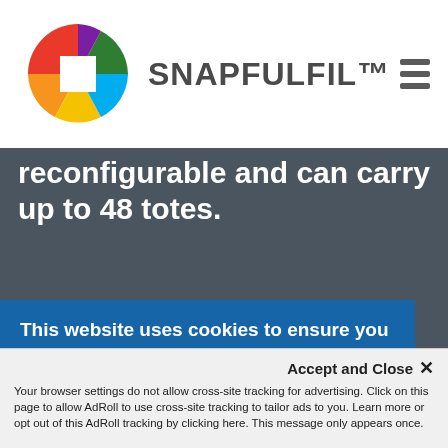[Figure (logo): SnapFulfil logo with colorful pinwheel/windmill icon and SNAPFULFIL wordmark, plus hamburger menu icon]
reconfigurable and can carry up to 48 totes.
Affordable pricing options, including rental agreements
Holistic solution with seamless WMS integration
This website uses cookies to ensure you get the best experience on our website.
View our privacy policy
Accept and Close ✕
Your browser settings do not allow cross-site tracking for advertising. Click on this page to allow AdRoll to use cross-site tracking to tailor ads to you. Learn more or opt out of this AdRoll tracking by clicking here. This message only appears once.